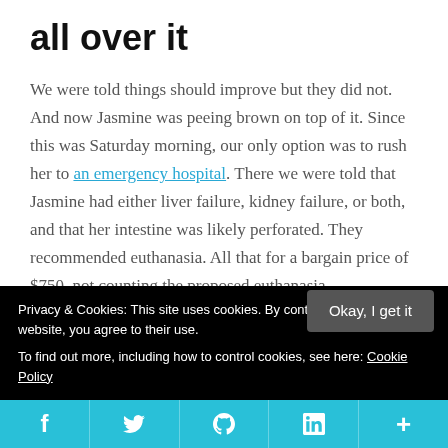all over it
We were told things should improve but they did not. And now Jasmine was peeing brown on top of it. Since this was Saturday morning, our only option was to rush her to an emergency hospital. There we were told that Jasmine had either liver failure, kidney failure, or both, and that her intestine was likely perforated. They recommended euthanasia. All that for a bargain price of $750, not counting the proposed euthanasia.
Fortunately for Jasmine, at least half of that sounded
Privacy & Cookies: This site uses cookies. By continuing to use this website, you agree to their use.
To find out more, including how to control cookies, see here: Cookie Policy
Okay, I get it